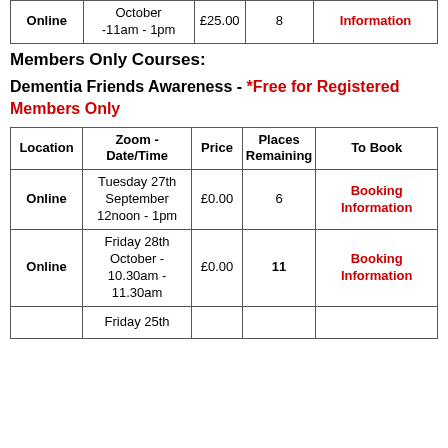| Location | Zoom - Date/Time | Price | Places Remaining | To Book |
| --- | --- | --- | --- | --- |
| Online | October
-11am - 1pm | £25.00 | 8 | Information |
Members Only Courses:
Dementia Friends Awareness - *Free for Registered Members Only
| Location | Zoom - Date/Time | Price | Places Remaining | To Book |
| --- | --- | --- | --- | --- |
| Online | Tuesday 27th September 12noon - 1pm | £0.00 | 6 | Booking Information |
| Online | Friday 28th October - 10.30am - 11.30am | £0.00 | 11 | Booking Information |
|  | Friday 25th |  |  |  |